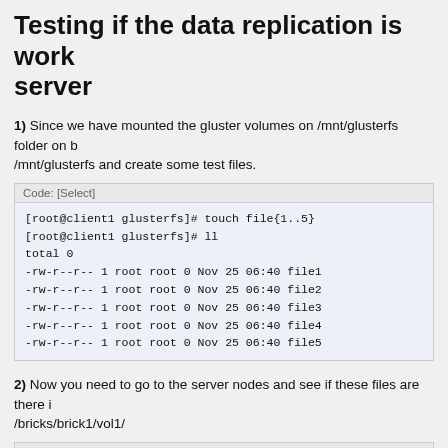Testing if the data replication is working on the server
1) Since we have mounted the gluster volumes on /mnt/glusterfs folder on both the clients, on client1 go to /mnt/glusterfs and create some test files.
Code: [Select]
[root@client1 glusterfs]# touch file{1..5}
[root@client1 glusterfs]# ll
total 0
-rw-r--r-- 1 root root 0 Nov 25 06:40 file1
-rw-r--r-- 1 root root 0 Nov 25 06:40 file2
-rw-r--r-- 1 root root 0 Nov 25 06:40 file3
-rw-r--r-- 1 root root 0 Nov 25 06:40 file4
-rw-r--r-- 1 root root 0 Nov 25 06:40 file5
2) Now you need to go to the server nodes and see if these files are there in /bricks/brick1/vol1/
Code: [Select]
[root@server1 vol1]# ll
total 0
-rw-r--r-- 2 root root 0 Nov 25 06:40 file1
-rw-r--r-- 2 root root 0 Nov 25 06:40 file2
-rw-r--r-- 2 root root 0 Nov 25 06:40 file3